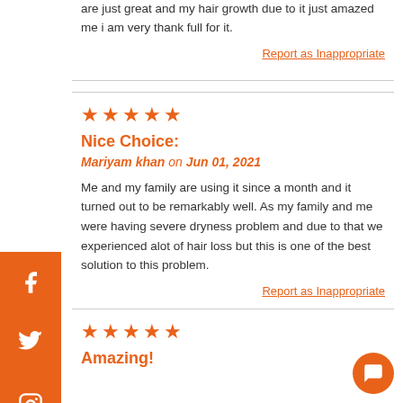are just great and my hair growth due to it just amazed me i am very thank full for it.
Report as Inappropriate
[Figure (infographic): 5 orange stars rating]
Nice Choice:
Mariyam khan on Jun 01, 2021
Me and my family are using it since a month and it turned out to be remarkably well. As my family and me were having severe dryness problem and due to that we experienced alot of hair loss but this is one of the best solution to this problem.
Report as Inappropriate
[Figure (infographic): 5 orange stars rating]
Amazing!